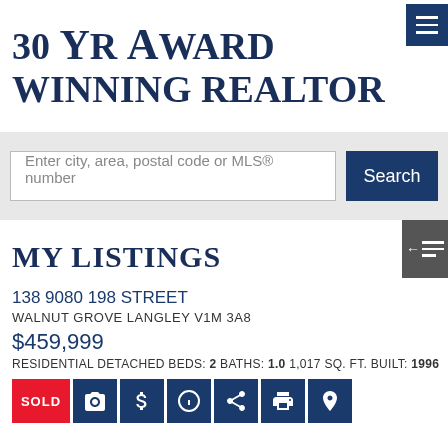30 YR AWARD WINNING REALTOR
Enter city, area, postal code or MLS® number
Search
MY LISTINGS
138 9080 198 STREET
WALNUT GROVE LANGLEY V1M 3A8
$459,999
RESIDENTIAL DETACHED BEDS: 2 BATHS: 1.0 1,017 SQ. FT. BUILT: 1996
SOLD